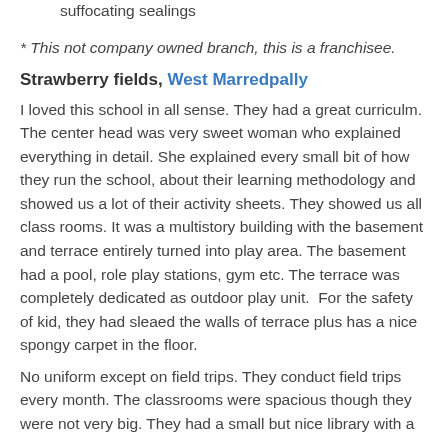No sunlight at all in the classrooms due to suffocating sealings
* This not company owned branch, this is a franchisee.
Strawberry fields, West Marredpally
I loved this school in all sense. They had a great curriculm. The center head was very sweet woman who explained everything in detail. She explained every small bit of how they run the school, about their learning methodology and showed us a lot of their activity sheets. They showed us all class rooms. It was a multistory building with the basement and terrace entirely turned into play area. The basement had a pool, role play stations, gym etc. The terrace was completely dedicated as outdoor play unit.  For the safety of kid, they had sleaed the walls of terrace plus has a nice spongy carpet in the floor.
No uniform except on field trips. They conduct field trips every month. The classrooms were spacious though they were not very big. They had a small but nice library with a